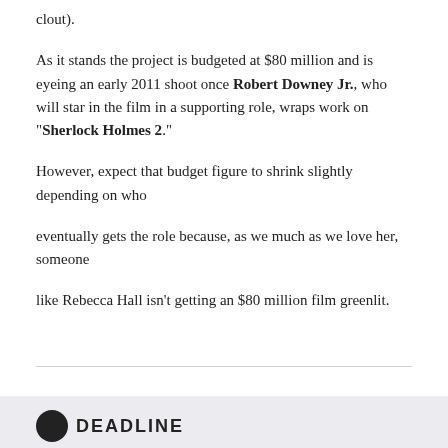clout).
As it stands the project is budgeted at $80 million and is eyeing an early 2011 shoot once Robert Downey Jr., who will star in the film in a supporting role, wraps work on "Sherlock Holmes 2."
However, expect that budget figure to shrink slightly depending on who
eventually gets the role because, as we much as we love her, someone
like Rebecca Hall isn't getting an $80 million film greenlit.